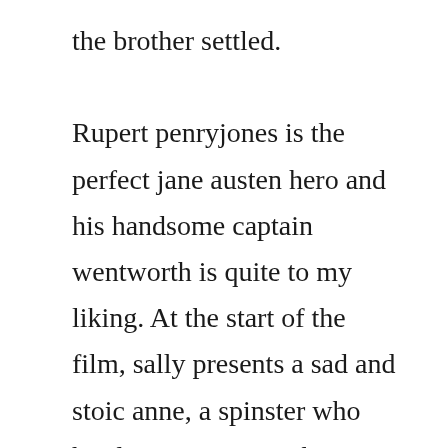the brother settled. Rupert penryjones is the perfect jane austen hero and his handsome captain wentworth is quite to my liking. At the start of the film, sally presents a sad and stoic anne, a spinster who has lost. Movies tv shows news live fashion learning spotlight. Today were discussing the newest adaptation of persuasion, which aired in the us this past sunday on pbs, and in the uk last year first, heres some knowledge to impress your friends with. It was published at the end of 1817, six